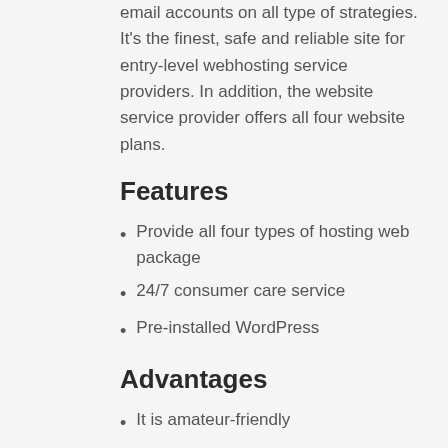email accounts on all type of strategies. It's the finest, safe and reliable site for entry-level webhosting service providers. In addition, the website service provider offers all four website plans.
Features
Provide all four types of hosting web package
24/7 consumer care service
Pre-installed WordPress
Advantages
It is amateur-friendly
It has a top load speed of 410 ms
Free domain name